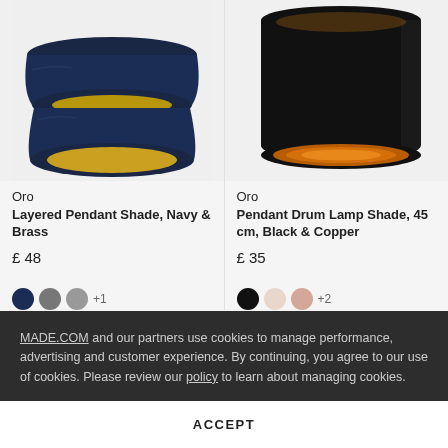[Figure (photo): Oro Layered Pendant Shade in Navy and Brass, viewed from below showing two-tiered navy fabric shade with gold/brass interior lining.]
[Figure (photo): Oro Pendant Drum Lamp Shade 45cm in Black and Copper, viewed from below showing black cylindrical drum shade with copper interior lining.]
Oro
Layered Pendant Shade, Navy & Brass
£ 48
Oro
Pendant Drum Lamp Shade, 45 cm, Black & Copper
£ 35
MADE.COM and our partners use cookies to manage performance, advertising and customer experience. By continuing, you agree to our use of cookies. Please review our policy to learn about managing cookies.
ACCEPT